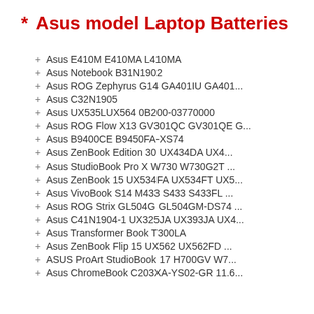* Asus model Laptop Batteries
+ Asus E410M E410MA L410MA
+ Asus Notebook B31N1902
+ Asus ROG Zephyrus G14 GA401IU GA401...
+ Asus C32N1905
+ Asus UX535LUX564 0B200-03770000
+ Asus ROG Flow X13 GV301QC GV301QE G...
+ Asus B9400CE B9450FA-XS74
+ Asus ZenBook Edition 30 UX434DA UX4...
+ Asus StudioBook Pro X W730 W730G2T ...
+ Asus ZenBook 15 UX534FA UX534FT UX5...
+ Asus VivoBook S14 M433 S433 S433FL ...
+ Asus ROG Strix GL504G GL504GM-DS74 ...
+ Asus C41N1904-1 UX325JA UX393JA UX4...
+ Asus Transformer Book T300LA
+ Asus ZenBook Flip 15 UX562 UX562FD ...
+ ASUS ProArt StudioBook 17 H700GV W7...
+ Asus ChromeBook C203XA-YS02-GR 11.6...